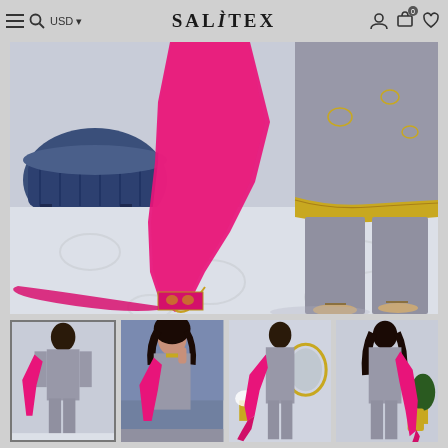SALÌTEX — Navigation bar with menu, search, USD currency, account, cart (0), and wishlist icons
[Figure (photo): Main product photo showing lower half of a woman wearing a grey Pakistani/South Asian suit (kameez and trousers) with gold embroidery on the hem, and a bright hot-pink/magenta dupatta (shawl) with gold embroidered border draped and trailing on a light floral-patterned floor. A blue tufted ottoman is visible in the background.]
[Figure (photo): Thumbnail 1: Full length view of woman in grey suit with pink dupatta held out to the side, light background.]
[Figure (photo): Thumbnail 2: Front-facing close-up of woman in grey suit holding pink dupatta, showing embroidery detail on kameez, blue decorative background.]
[Figure (photo): Thumbnail 3: Side/back view of woman in grey suit with pink dupatta trailing behind, ornate gold mirror and flowers in background.]
[Figure (photo): Thumbnail 4: Back view of woman in grey suit with pink dupatta, similar room setting with plants and gold accessories.]